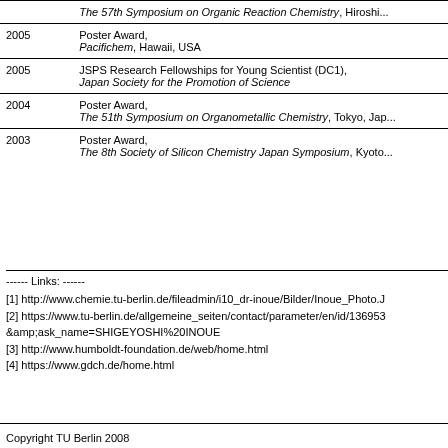| Year | Award |
| --- | --- |
|  | The 57th Symposium on Organic Reaction Chemistry, Hiroshi... |
| 2005 | Poster Award,
Pacifichem, Hawaii, USA |
| 2005 | JSPS Research Fellowships for Young Scientist (DC1),
Japan Society for the Promotion of Science |
| 2004 | Poster Award,
The 51th Symposium on Organometallic Chemistry, Tokyo, Jap... |
| 2003 | Poster Award,
The 8th Society of Silicon Chemistry Japan Symposium, Kyoto... |
------ Links: ------
[1] http://www.chemie.tu-berlin.de/fileadmin/i10_dr-inoue/Bilder/Inoue_Photo.J
[2] https://www.tu-berlin.de/allgemeine_seiten/contact/parameter/en/id/136953
&amp;ask_name=SHIGEYOSHI%20INOUE
[3] http://www.humboldt-foundation.de/web/home.html
[4] https://www.gdch.de/home.html
Copyright TU Berlin 2008